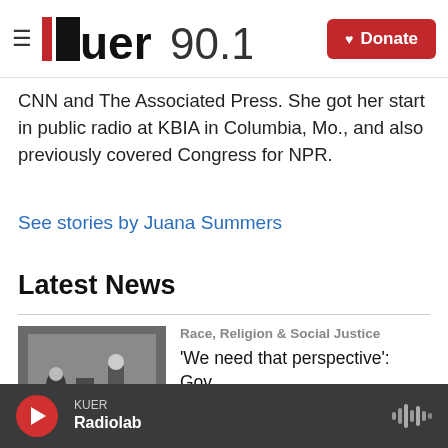KUER 90.1 — Donate
CNN and The Associated Press. She got her start in public radio at KBIA in Columbia, Mo., and also previously covered Congress for NPR.
See stories by Juana Summers
Latest News
[Figure (photo): Two people on a stage with a podium and screen in background]
Race, Religion & Social Justice
'We need that perspective': Gov.
KUER Radiolab